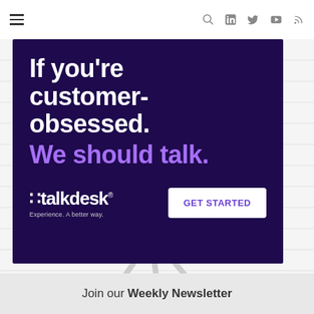Navigation bar with hamburger menu and social/search icons
[Figure (other): Talkdesk advertisement banner on dark purple background. Headline: 'If you're customer-obsessed. We should talk.' with Talkdesk logo and 'GET STARTED' CTA button.]
Join our Weekly Newsletter